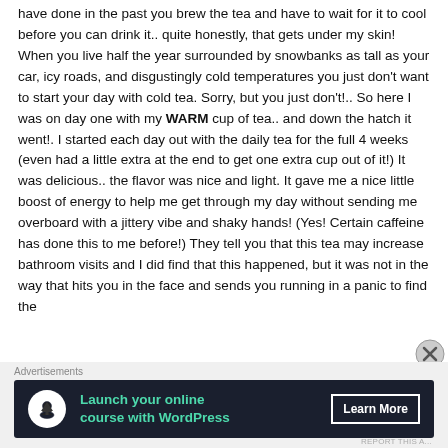have done in the past you brew the tea and have to wait for it to cool before you can drink it.. quite honestly, that gets under my skin! When you live half the year surrounded by snowbanks as tall as your car, icy roads, and disgustingly cold temperatures you just don't want to start your day with cold tea. Sorry, but you just don't!.. So here I was on day one with my WARM cup of tea.. and down the hatch it went!. I started each day out with the daily tea for the full 4 weeks (even had a little extra at the end to get one extra cup out of it!) It was delicious.. the flavor was nice and light. It gave me a nice little boost of energy to help me get through my day without sending me overboard with a jittery vibe and shaky hands! (Yes! Certain caffeine has done this to me before!) They tell you that this tea may increase bathroom visits and I did find that this happened, but it was not in the way that hits you in the face and sends you running in a panic to find the
[Figure (other): Close (X) button overlay on the right side]
Advertisements
[Figure (other): Advertisement banner: Launch your online course with WordPress — Learn More]
REPORT THIS A...